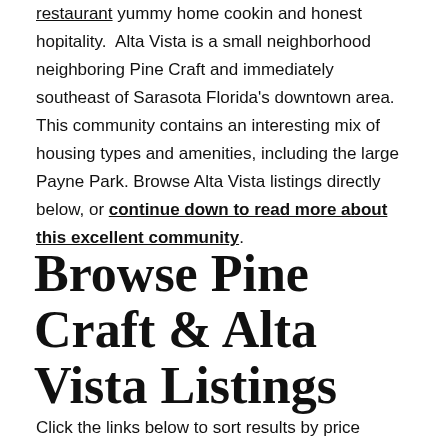restaurant yummy home cookin and honest hopitality. Alta Vista is a small neighborhood neighboring Pine Craft and immediately southeast of Sarasota Florida's downtown area. This community contains an interesting mix of housing types and amenities, including the large Payne Park. Browse Alta Vista listings directly below, or continue down to read more about this excellent community.
Browse Pine Craft & Alta Vista Listings
Click the links below to sort results by price range.